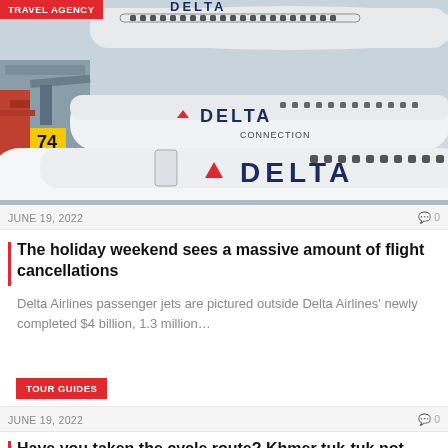[Figure (photo): Delta Airlines passenger jets parked at airport gates, with 'DELTA' and 'DELTA CONNECTION' branding visible on fuselages. A yellow gate number 74 sign is visible.]
TRAVEL AGENCY
JUNE 19, 2022
0
The holiday weekend sees a massive amount of flight cancellations
Delta Airlines passenger jets are pictured outside Delta Airlines' newly completed $4 billion, 1.3 million…
TOUR GUIDES
JUNE 19, 2022
0
Have you taken the cycle route? Khmer tuk-tuk not…